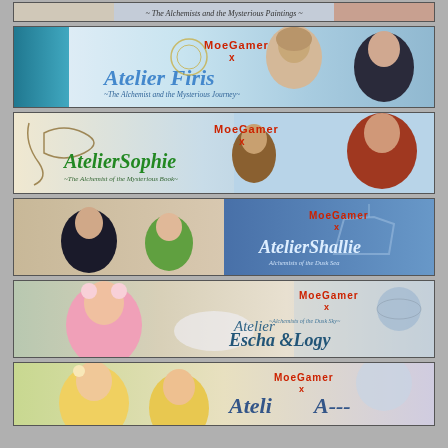[Figure (illustration): Banner for Atelier game - The Alchemists and the Mysterious Paintings - partial top strip]
[Figure (illustration): MoeGamer x Atelier Firis ~The Alchemist and the Mysterious Journey~ banner with anime characters on sky background]
[Figure (illustration): MoeGamer x Atelier Sophie ~The Alchemist of the Mysterious Book~ banner with anime characters]
[Figure (illustration): MoeGamer x Atelier Shallie Alchemists of the Dusk Sea banner with anime characters]
[Figure (illustration): MoeGamer x Atelier Escha & Logy ~Alchemists of the Dusk Sky~ banner with pink-haired anime character]
[Figure (illustration): MoeGamer x Atelier (partial) banner with blonde anime characters - bottom strip]